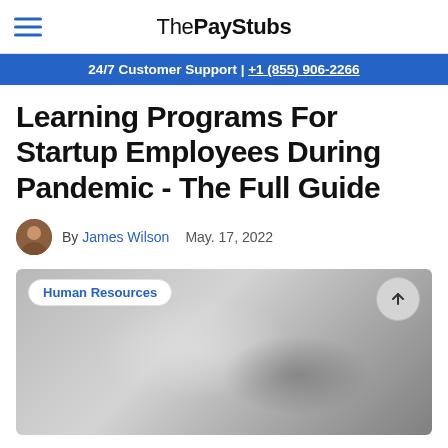ThePayStubs
24/7 Customer Support | +1 (855) 906-2266
Learning Programs For Startup Employees During Pandemic - The Full Guide
By James Wilson   May. 17, 2022
[Figure (photo): Article hero image with a 'Human Resources' tag pill in the top left and a scroll-up button in the top right corner. The image is blurred/grey.]